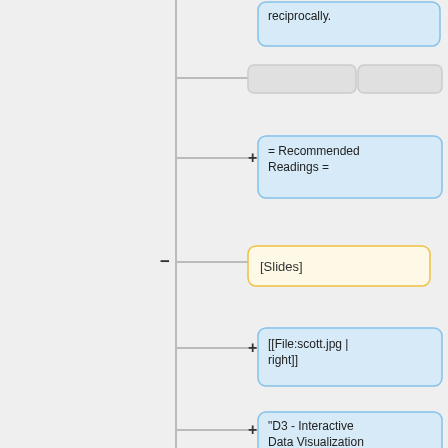[Figure (flowchart): Mind-map / wiki outline diagram showing nodes: 'reciprocally.', two gray empty nodes, '= Recommended Readings =', '[Slides]', '[[File:scott.jpg | right]]', '"D3 - Interactive Data Visualization for the Web", Scott Murray, O'Reilly (2013) [http://chimera.labs.oreilly.com/books/123000000345 Free online version ]', two more gray empty nodes, '= Resources =', 'TODO list for next'. Connected by plus/minus symbols and lines.]